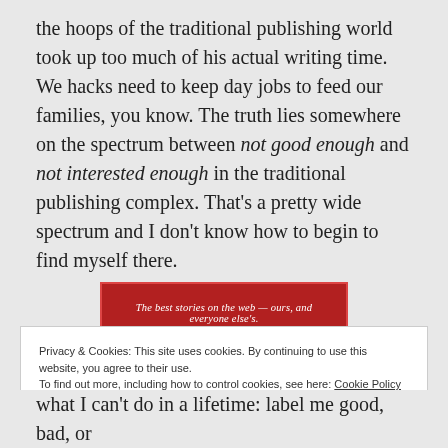the hoops of the traditional publishing world took up too much of his actual writing time. We hacks need to keep day jobs to feed our families, you know. The truth lies somewhere on the spectrum between not good enough and not interested enough in the traditional publishing complex. That's a pretty wide spectrum and I don't know how to begin to find myself there.
[Figure (other): Red promotional banner with white italic text reading: The best stories on the web — ours, and everyone else's. Small credit text reads LONGREADS TIMES AD.]
Privacy & Cookies: This site uses cookies. By continuing to use this website, you agree to their use. To find out more, including how to control cookies, see here: Cookie Policy
Close and accept
what I can't do in a lifetime: label me good, bad, or